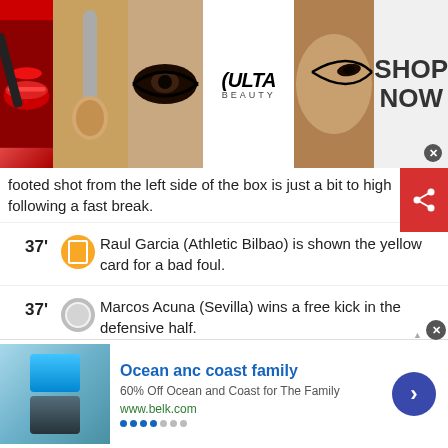[Figure (photo): Ulta Beauty advertisement banner with makeup images (lipstick, makeup brush, eye makeup) and 'SHOP NOW' call to action]
footed shot from the left side of the box is just a bit to high following a fast break.
37' Raul Garcia (Athletic Bilbao) is shown the yellow card for a bad foul.
37' Marcos Acuna (Sevilla) wins a free kick in the defensive half.
37' Foul by Raul Garcia (Athletic Bilbao).
33' Offside, Sevilla. Diego Carlos tries a through ball, but Jesus Corona is caught offside.
29' VAR Decision: No Goal Sevilla 0-0 Athletic Bilbao
[Figure (photo): Ocean and Coast Family advertisement banner showing swimwear with 60% off offer from www.belk.com]